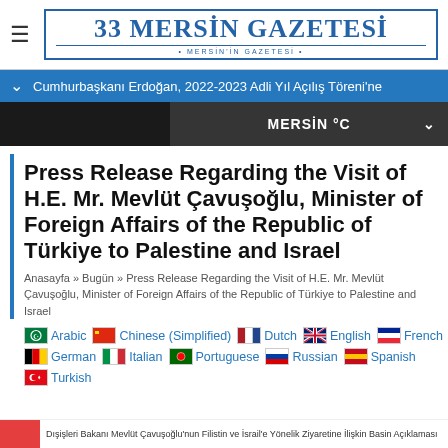33 MERSİN GAZETESİ
Cumhurbaşkanı Erdoğan, 2022-2023 Adli Yıl Açılış Töreni'ne
MERSİN °C
Press Release Regarding the Visit of H.E. Mr. Mevlüt Çavuşoğlu, Minister of Foreign Affairs of the Republic of Türkiye to Palestine and Israel
Anasayfa » Bugün » Press Release Regarding the Visit of H.E. Mr. Mevlüt Çavuşoğlu, Minister of Foreign Affairs of the Republic of Türkiye to Palestine and Israel
Arabic  Chinese (Simplified)  Dutch  English  French  German  Italian  Portuguese  Russian  Spanish  Turkish